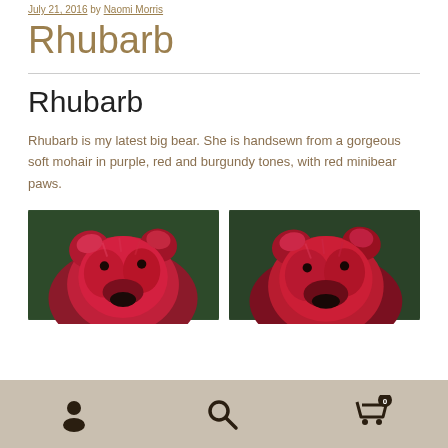Posted on July 21, 2016 by Naomi Morris
Rhubarb
Rhubarb
Rhubarb is my latest big bear. She is handsewn from a gorgeous soft mohair in purple, red and burgundy tones, with red minibear paws.
[Figure (photo): Close-up photo of a fluffy red/purple/burgundy teddy bear face against green bushes]
[Figure (photo): Close-up photo of a fluffy red/burgundy teddy bear face against green bushes, slightly different angle]